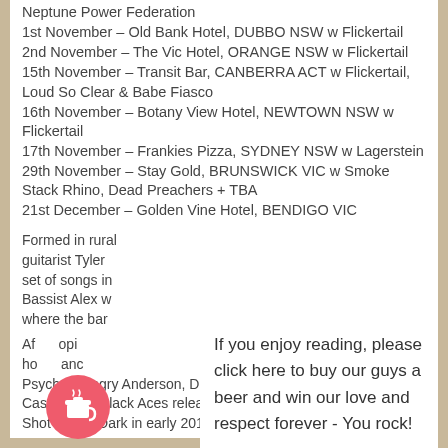Neptune Power Federation
1st November – Old Bank Hotel, DUBBO NSW w Flickertail
2nd November – The Vic Hotel, ORANGE NSW w Flickertail
15th November – Transit Bar, CANBERRA ACT w Flickertail, Loud So Clear & Babe Fiasco
16th November – Botany View Hotel, NEWTOWN NSW w Flickertail
17th November – Frankies Pizza, SYDNEY NSW w Lagerstein
29th November – Stay Gold, BRUNSWICK VIC w Smoke Stack Rhino, Dead Preachers + TBA
21st December – Golden Vine Hotel, BENDIGO VIC
Formed in rural ... guitarist Tyler ... set of songs in ... Bassist Alex w ... where the bar ...
[Figure (other): Coffee/beer donation button overlay with text: If you enjoy reading, please click here to buy our guys a beer and win our love and respect forever - You rock!]
Af... opi... ho... and... Psychos, Angry Anderson, Dallas Crane, and The Casanovas, Black Aces released their debut album Shot In The Dark in early 2016 and took their live show...